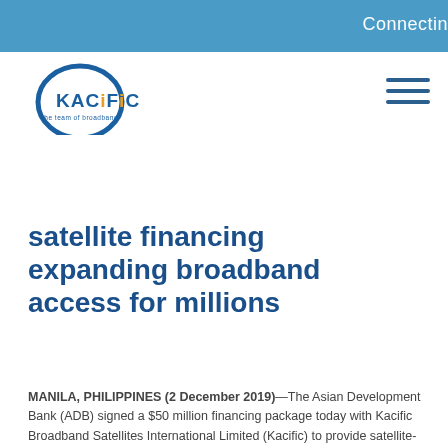Connectin
[Figure (logo): Kacific logo with circular arc and text 'the team of broadband']
satellite financing expanding broadband access for millions
MANILA, PHILIPPINES (2 December 2019)—The Asian Development Bank (ADB) signed a $50 million financing package today with Kacific Broadband Satellites International Limited (Kacific) to provide satellite-based, low cost, high-speed, wholesale broadband internet connections to countries in Asia and the Pacific, especially in remote areas of small island nations in the Pacific, and larger island nations like Indonesia and the Philippines.
ADB's assistance will be used by Kacific for the Asia-Pacific Remote Broadband Internet Satellite Project. The project will support the construction, launch, and operation of a shared geostationary earth orbit (GEO), high-throughput satellite (HTS), featuring Ka-band technology. The project will provide wider